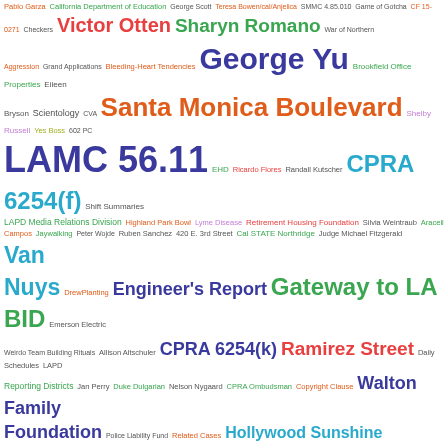[Figure (infographic): Word cloud with various terms related to Los Angeles government, public records, BIDs, and legal matters, displayed in varying sizes and colors (green, red, blue, orange, purple, teal, dark). Prominent terms include Kerry Morrison, LAMC 56.11, Gateway to LA BID, Santa Monica Boulevard, Cory Spencer v., CPRA 6254(f), Spring Street Courthouse, Paul Koretz, and many others.]